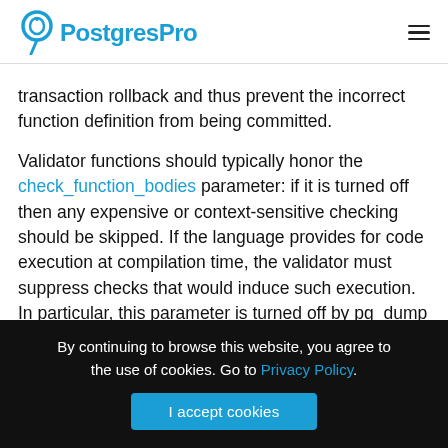PostgresPro
transaction rollback and thus prevent the incorrect function definition from being committed.
Validator functions should typically honor the check_function_bodies parameter: if it is turned off then any expensive or context-sensitive checking should be skipped. If the language provides for code execution at compilation time, the validator must suppress checks that would induce such execution. In particular, this parameter is turned off by pg_dump so that it can load procedural language functions without worrying about side effects or
By continuing to browse this website, you agree to the use of cookies. Go to Privacy Policy.